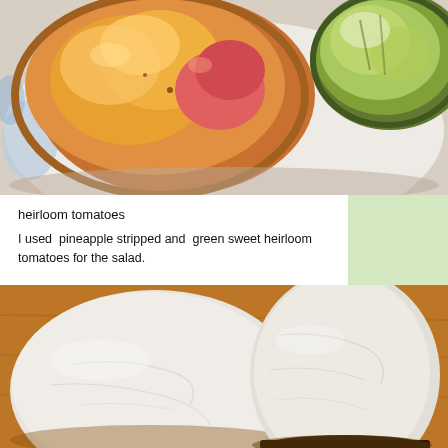[Figure (photo): Top-down view of two glass bowls on a white plate; left bowl contains orange and pink heirloom tomatoes, right bowl contains green heirloom tomatoes]
heirloom tomatoes
I used  pineapple stripped and  green sweet heirloom tomatoes for the salad.
[Figure (photo): Two large round slices of fresh mozzarella cheese on a wooden cutting board]